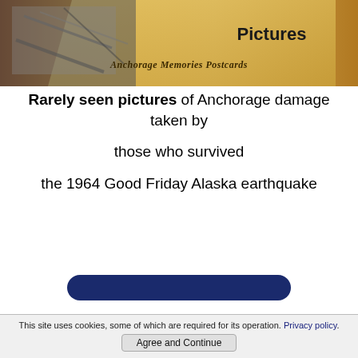[Figure (illustration): Banner image with sepia/aged background, black and white historical photo of earthquake damage on left, text 'Pictures' in bold on upper right, and 'Anchorage Memories Postcards' in decorative italic font in center-lower area.]
Rarely seen pictures of Anchorage damage taken by those who survived the 1964 Good Friday Alaska earthquake
[Figure (other): Dark navy blue rounded rectangle button partially visible at bottom of content area]
This site uses cookies, some of which are required for its operation. Privacy policy. Agree and Continue